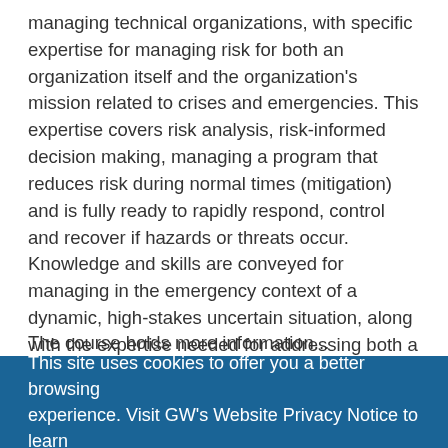managing technical organizations, with specific expertise for managing risk for both an organization itself and the organization's mission related to crises and emergencies. This expertise covers risk analysis, risk-informed decision making, managing a program that reduces risk during normal times (mitigation) and is fully ready to rapidly respond, control and recover if hazards or threats occur. Knowledge and skills are conveyed for managing in the emergency context of a dynamic, high-stakes uncertain situation, along with the expertise needed for addressing both a wide range of hazard types and the varied operation within governmental, private sector for-profit and not-for-profits organizations and emergency response teams.
The course holds more information...
This site uses cookies to offer you a better browsing experience. Visit GW's Website Privacy Notice to learn